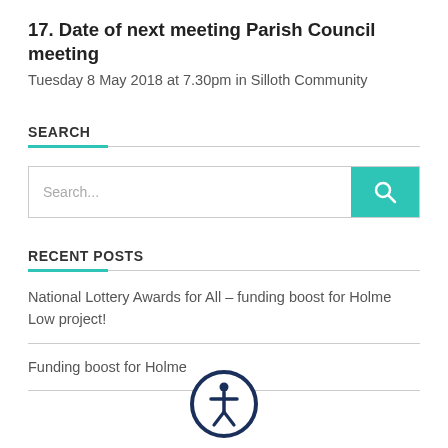17. Date of next meeting Parish Council meeting
Tuesday 8 May 2018 at 7.30pm in Silloth Community
SEARCH
[Figure (other): Search input box with teal search button containing a magnifying glass icon]
RECENT POSTS
National Lottery Awards for All – funding boost for Holme Low project!
Funding boost for Holme
[Figure (illustration): Accessibility icon — person in circle with dark navy border]